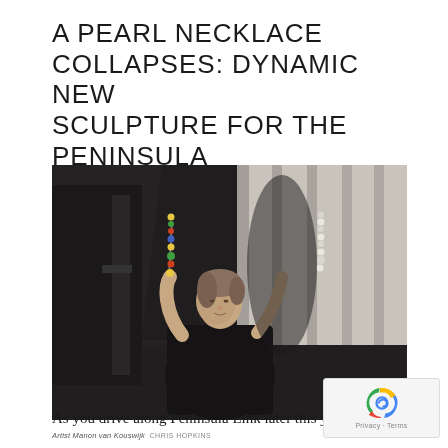A PEARL NECKLACE COLLAPSES: DYNAMIC NEW SCULPTURE FOR THE PENINSULA
[Figure (photo): A woman (artist Manon van Kouswijk) stands in a studio or warehouse space with dramatic window-shadow lighting on the wall behind her. She is dressed in black and holds two bead/pearl sculptures in her raised hands.]
Artist Manon van Kouswijk  CHRIS HOPKINS
As you drive along Peninsula Link later this year,